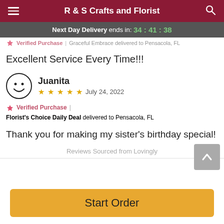R & S Crafts and Florist
Next Day Delivery ends in: 34:41:38
Verified Purchase | Graceful Embrace delivered to Pensacola, FL
Excellent Service Every Time!!!
Juanita
★★★★★ July 24, 2022
Verified Purchase | Florist's Choice Daily Deal delivered to Pensacola, FL
Thank you for making my sister's birthday special!
Reviews Sourced from Lovingly
Start Order